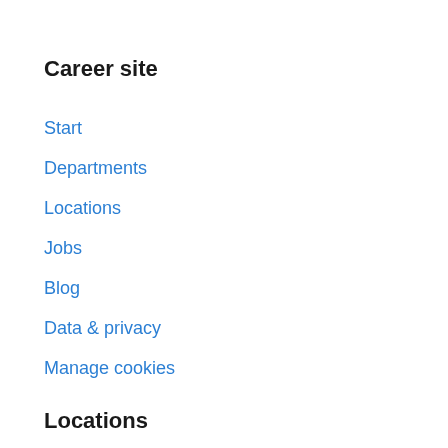Career site
Start
Departments
Locations
Jobs
Blog
Data & privacy
Manage cookies
Locations
Stockholm
Göteborg